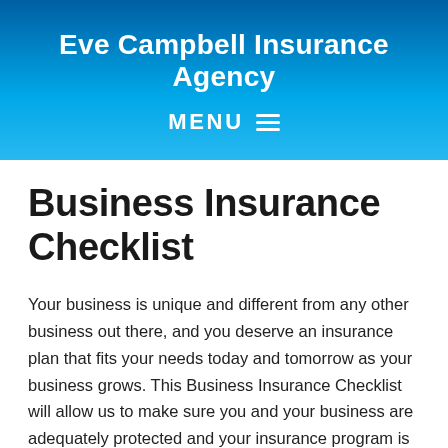Eve Campbell Insurance Agency
MENU
Business Insurance Checklist
Your business is unique and different from any other business out there, and you deserve an insurance plan that fits your needs today and tomorrow as your business grows. This Business Insurance Checklist will allow us to make sure you and your business are adequately protected and your insurance program is as